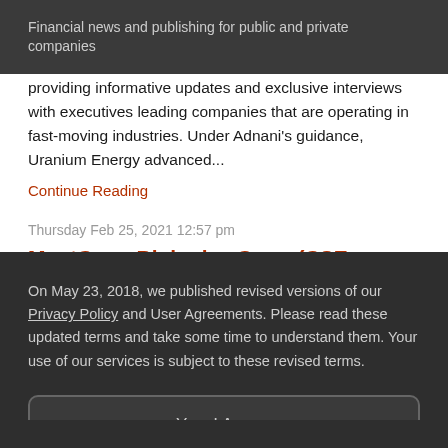Financial news and publishing for public and private companies
providing informative updates and exclusive interviews with executives leading companies that are operating in fast-moving industries. Under Adnani's guidance, Uranium Energy advanced...
Continue Reading
Thursday Feb 25, 2021 12:57 pm
MustGrow Biologics Corp. (CSE: MGRO) (OTC: MGROF) (FRA: 0C0) Reports Its Plant-Based Biopesticide Has Positive Impact on...
On May 23, 2018, we published revised versions of our Privacy Policy and User Agreements. Please read these updated terms and take some time to understand them. Your use of our services is subject to these revised terms.
Yes, I Agree.